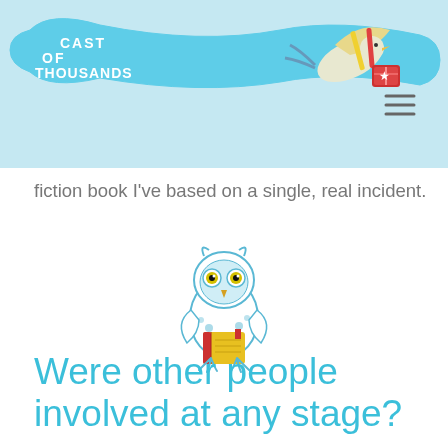Cast of Thousands
fiction book I've based on a single, real incident.
[Figure (illustration): A cartoon owl illustration holding a yellow book, drawn in blue and yellow colors]
Were other people involved at any stage?